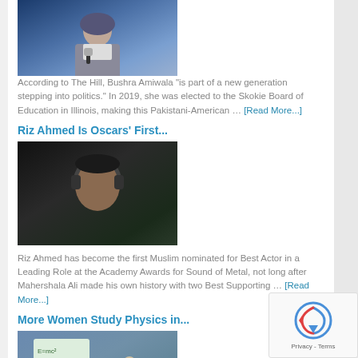[Figure (photo): Woman speaking on stage with microphone, dark blue background]
According to The Hill, Bushra Amiwala "is part of a new generation stepping into politics." In 2019, she was elected to the Skokie Board of Education in Illinois, making this Pakistani-American ... [Read More...]
Riz Ahmed Is Oscars' First...
[Figure (photo): Man wearing headphones, dark moody portrait]
Riz Ahmed has become the first Muslim nominated for Best Actor in a Leading Role at the Academy Awards for Sound of Metal, not long after Mahershala Ali made his own history with two Best Supporting ... [Read More...]
More Women Study Physics in...
[Figure (illustration): Illustration of women studying physics in a classroom/lab setting]
A recent report from Physics magazine finds that physics